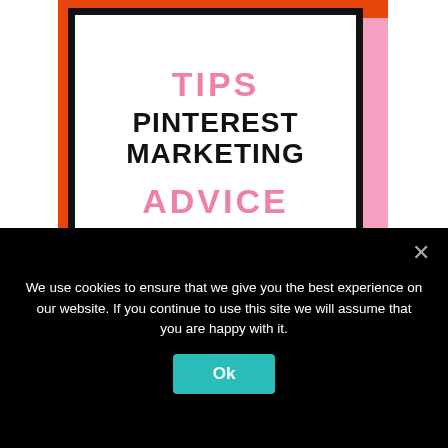[Figure (illustration): Pinterest marketing tips/advice graphic. Orange background with pink shadow box and white framed card showing 'TIPS' in pink, 'PINTEREST MARKETING' in black bold, 'ADVICE' in pink.]
[Figure (illustration): Partial second Pinterest graphic with pink background, yellow corner accent, and a white bordered card partially visible at bottom.]
We use cookies to ensure that we give you the best experience on our website. If you continue to use this site we will assume that you are happy with it.